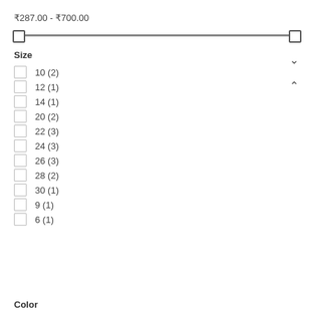₹287.00 - ₹700.00
[Figure (other): Price range slider with two thumbs, ranging from ₹287.00 to ₹700.00]
Size
10 (2)
12 (1)
14 (1)
20 (2)
22 (3)
24 (3)
26 (3)
28 (2)
30 (1)
9 (1)
6 (1)
Color